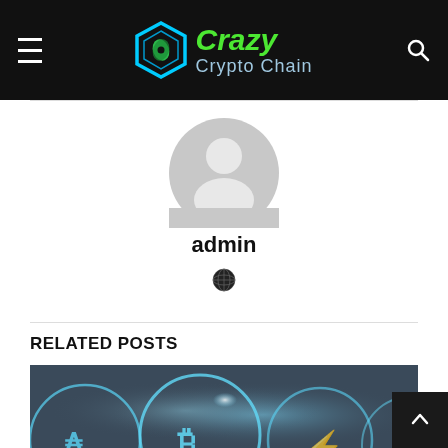Crazy Crypto Chain
[Figure (illustration): Circular user avatar placeholder with silhouette of a person, grey tones]
admin
[Figure (illustration): Globe/world icon, dark with blue tones]
RELATED POSTS
[Figure (photo): Glowing blue cryptocurrency coins including Bitcoin and other crypto symbols on dark background]